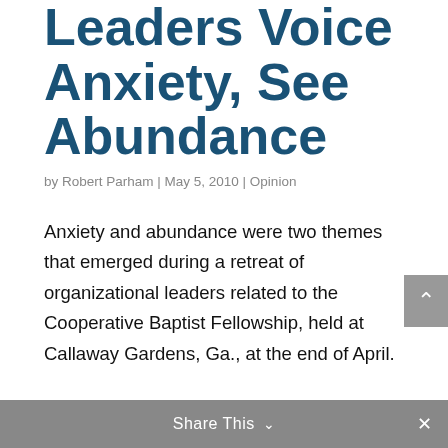Leaders Voice Anxiety, See Abundance
by Robert Parham | May 5, 2010 | Opinion
Anxiety and abundance were two themes that emerged during a retreat of organizational leaders related to the Cooperative Baptist Fellowship, held at Callaway Gardens, Ga., at the end of April.
Both outlooks disclose how some goodwill Baptists see their current conditions and forecast the future.
Share This ∨  ×